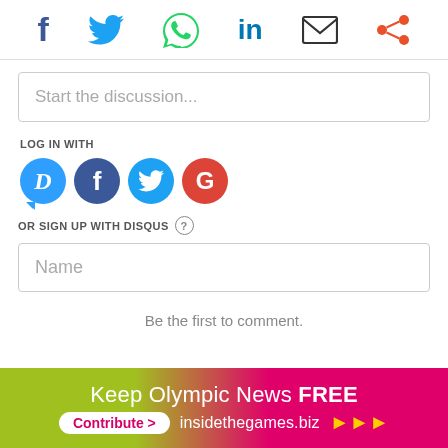[Figure (infographic): Social sharing icon bar with Facebook, Twitter, WhatsApp, LinkedIn, Email, and Share icons]
Start the discussion...
LOG IN WITH
[Figure (infographic): Login icons: Disqus (D), Facebook (f), Twitter bird, Google (G) as colored circles]
OR SIGN UP WITH DISQUS ?
Name
Be the first to comment.
Keep Olympic News FREE Contribute > insidethegames.biz >>>